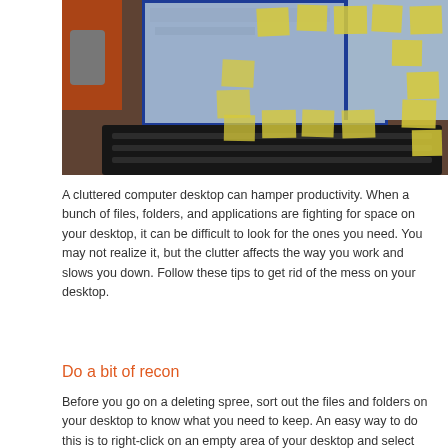[Figure (photo): Photo of a cluttered computer workstation with a monitor covered in sticky notes, a keyboard, a phone, and books in background]
A cluttered computer desktop can hamper productivity. When a bunch of files, folders, and applications are fighting for space on your desktop, it can be difficult to look for the ones you need. You may not realize it, but the clutter affects the way you work and slows you down. Follow these tips to get rid of the mess on your desktop.
Do a bit of recon
Before you go on a deleting spree, sort out the files and folders on your desktop to know what you need to keep. An easy way to do this is to right-click on an empty area of your desktop and select Auto arrange icons. This will